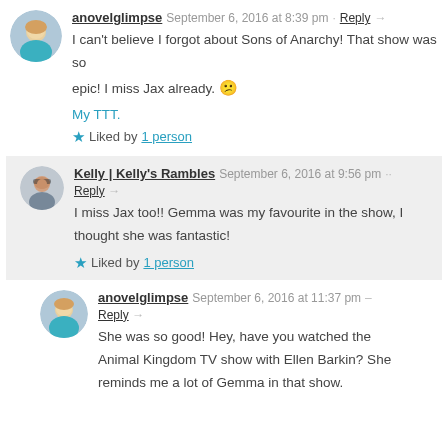anovelglimpse  September 6, 2016 at 8:39 pm  Reply
I can't believe I forgot about Sons of Anarchy! That show was so epic! I miss Jax already. 😕
My TTT.
★ Liked by 1 person
Kelly | Kelly's Rambles  September 6, 2016 at 9:56 pm  Reply
I miss Jax too!! Gemma was my favourite in the show, I thought she was fantastic!
★ Liked by 1 person
anovelglimpse  September 6, 2016 at 11:37 pm  Reply
She was so good! Hey, have you watched the Animal Kingdom TV show with Ellen Barkin? She reminds me a lot of Gemma in that show.